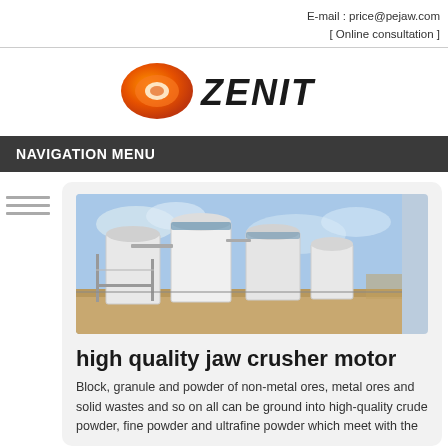E-mail : price@pejaw.com
[ Online consultation ]
[Figure (logo): Zenit company logo with orange ellipse icon and bold black ZENIT text]
NAVIGATION MENU
[Figure (photo): Industrial facility with large white cylindrical silos/tanks and metal scaffolding structures on a flat landscape under cloudy sky]
high quality jaw crusher motor
Block, granule and powder of non-metal ores, metal ores and solid wastes and so on all can be ground into high-quality crude powder, fine powder and ultrafine powder which meet with the